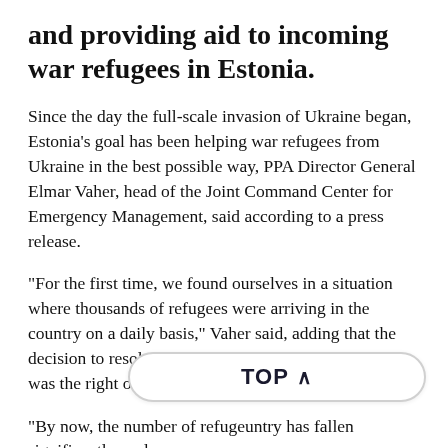and providing aid to incoming war refugees in Estonia.
Since the day the full-scale invasion of Ukraine began, Estonia's goal has been helping war refugees from Ukraine in the best possible way, PPA Director General Elmar Vaher, head of the Joint Command Center for Emergency Management, said according to a press release.
"For the first time, we found ourselves in a situation where thousands of refugees were arriving in the country on a daily basis," Vaher said, adding that the decision to resolve the crisis under single management was the right one.
"By now, the number of refuge… …untry has fallen significantly, and se… accepting people are operational," he continued